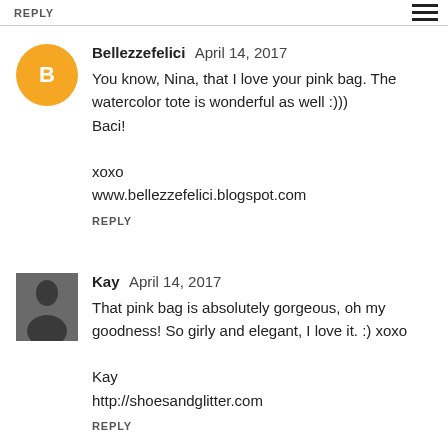REPLY
Bellezzefelici  April 14, 2017
You know, Nina, that I love your pink bag. The watercolor tote is wonderful as well :)))
Baci!

xoxo
www.bellezzefelici.blogspot.com

REPLY
Kay  April 14, 2017
That pink bag is absolutely gorgeous, oh my goodness! So girly and elegant, I love it. :) xoxo

Kay
http://shoesandglitter.com

REPLY